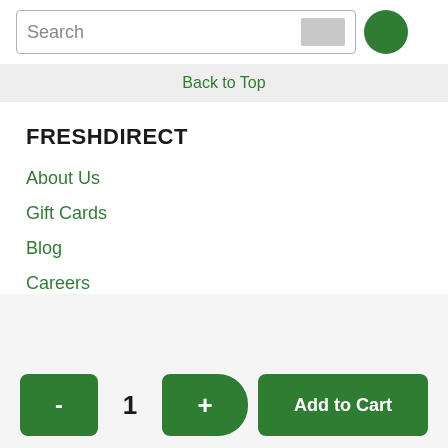Search
Back to Top
FRESHDIRECT
About Us
Gift Cards
Blog
Careers
- 1 + Add to Cart